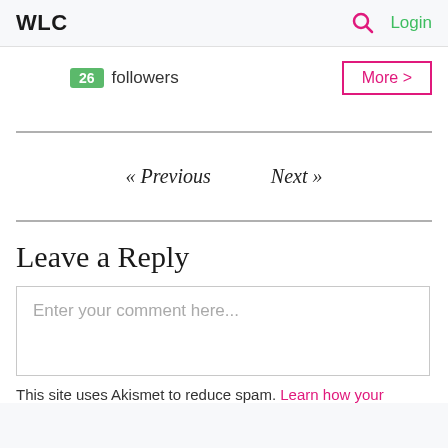WLC  Login
26 followers  More >
« Previous   Next »
Leave a Reply
Enter your comment here...
This site uses Akismet to reduce spam. Learn how your